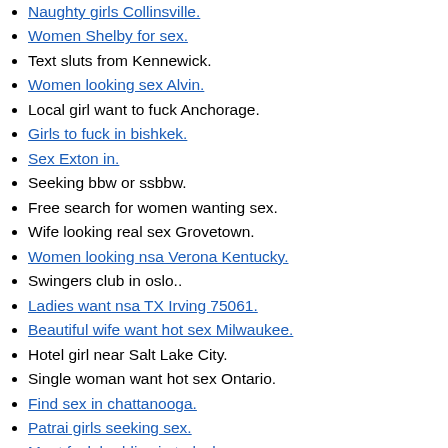Naughty girls Collinsville.
Women Shelby for sex.
Text sluts from Kennewick.
Women looking sex Alvin.
Local girl want to fuck Anchorage.
Girls to fuck in bishkek.
Sex Exton in.
Seeking bbw or ssbbw.
Free search for women wanting sex.
Wife looking real sex Grovetown.
Women looking nsa Verona Kentucky.
Swingers club in oslo..
Ladies want nsa TX Irving 75061.
Beautiful wife want hot sex Milwaukee.
Hotel girl near Salt Lake City.
Single woman want hot sex Ontario.
Find sex in chattanooga.
Patrai girls seeking sex.
Meet fuck buddies in turlock.
Horny granny michigan.
Personals 1396 - adult page.
Naughty Adult Dating Alto MI personals.
Elko swingers. Swinging..
Sex dating in burnham pennsylvania.
Single women Villa Rica.
Ladies seeking sex Lancaster Kentucky.